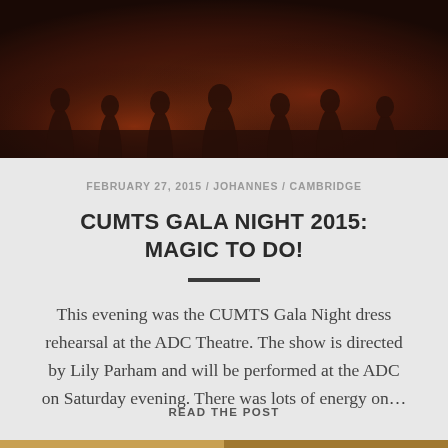[Figure (photo): Dark photo of performers/dancers on stage, silhouetted figures in dark clothing against a warm reddish-brown stage lighting backdrop]
FEBRUARY 27, 2015 / JOHANNES / CAMBRIDGE
CUMTS GALA NIGHT 2015: MAGIC TO DO!
This evening was the CUMTS Gala Night dress rehearsal at the ADC Theatre. The show is directed by Lily Parham and will be performed at the ADC on Saturday evening. There was lots of energy on…
READ THE POST
[Figure (photo): Partial view of another photo at the bottom of the page]